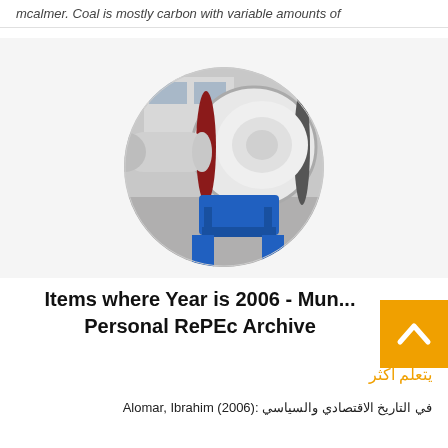mcalmer. Coal is mostly carbon with variable amounts of
[Figure (photo): Circular cropped photo of an industrial ball mill machine — large white cylindrical drum with a blue support frame, photographed in a grey warehouse setting.]
Items where Year is 2006 - Mun... Personal RePEc Archive
يتعلم اكثر
Alomar, Ibrahim (2006): في التاريخ الاقتصادي والسياسي